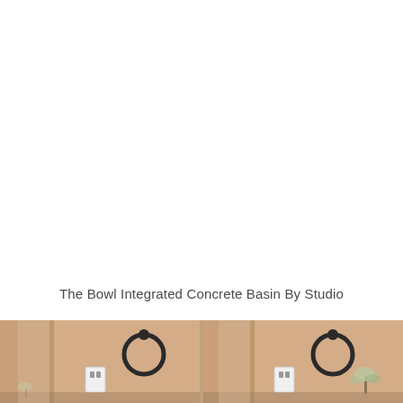The Bowl Integrated Concrete Basin By Studio
[Figure (photo): Bathroom interior showing towel rings mounted on a warm-toned wall, with mirrors, a power outlet, and small decorative plant visible. Two similar views side by side.]